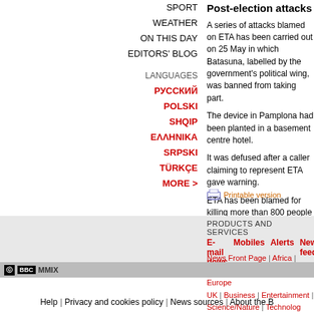Post-election attacks
A series of attacks blamed on ETA has been carried out on 25 May in which Batasuna, labelled by the government's political wing, was banned from taking part.
The device in Pamplona had been planted in a basement centre hotel.
It was defused after a caller claiming to represent ETA gave warning.
ETA has been blamed for killing more than 800 people in its campaign for an independent Basque homeland.
SPORT
WEATHER
ON THIS DAY
EDITORS' BLOG
LANGUAGES
РУССКИЙ
POLSKI
SHQIP
ΕΛΛΗΝΙΚΑ
SRPSKI
TÜRKÇE
MORE >
E-mail this to a friend  |  Printable version
PRODUCTS AND SERVICES
E-mail news  |  Mobiles  |  Alerts  |  News feeds  |  Podcasts
News Front Page | Africa | Americas | Asia-Pacific | Europe | UK | Business | Entertainment | Science/Nature | Technology | Have Your Say | In Pictures | Week at a Glance | Country Profiles
© BBC MMIX
Help | Privacy and cookies policy | News sources | About the BBC